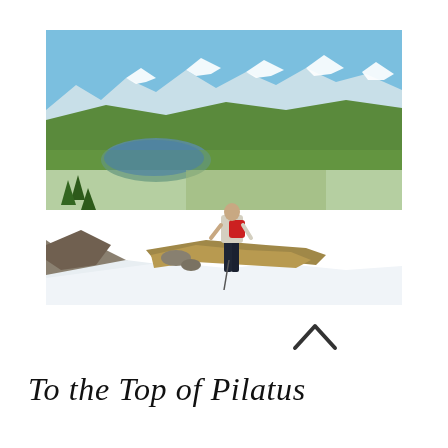[Figure (photo): A hiker standing on a rocky mountain ledge with snow in the foreground, looking out over a vast valley with a lake and town below, surrounded by snow-capped Alps mountains under a blue sky]
To the Top of Pilatus